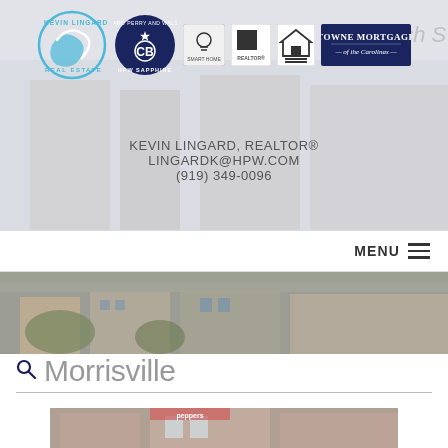[Figure (screenshot): Real estate agent website header for Kevin Lingard, REALTOR. Shows logos including Kevin Lingard Real Estate, Coldwell Banker HPW Sapphire, Smart Home, REALTOR, Equal Housing, and Towne Mortgage of the Carolinas. Background is a blurred street photo.]
KEVIN LINGARD, REALTOR®
LINGARDK@HPW.COM
(919) 349-0096
MENU
[Figure (photo): Street-level photo of a commercial/retail district with brick buildings, outdoor seating and storefronts]
Morrisville
[Figure (photo): Bottom photo showing brick building with Peppers signage and retail storefronts]